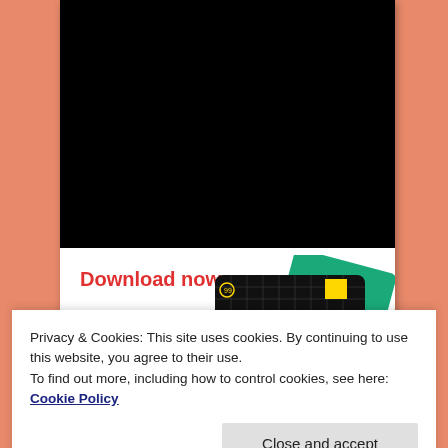[Figure (screenshot): Black video player area embedded in a white card on a salmon/orange background]
Download now
[Figure (illustration): 99% Invisible podcast card/book cover image showing dark grid card with yellow square and text '99% INVISIBLE', alongside green and blue card corners]
Privacy & Cookies: This site uses cookies. By continuing to use this website, you agree to their use.
To find out more, including how to control cookies, see here: Cookie Policy
Close and accept